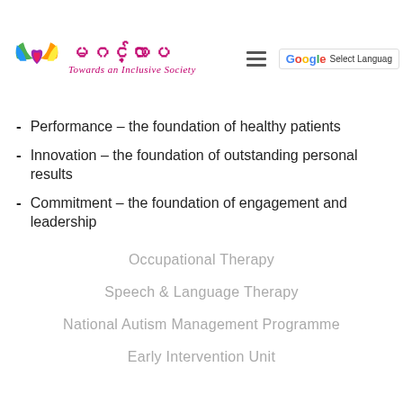[Figure (logo): Samaritans of Thailand logo with colorful heart/wings icon and Thai text 'Towards an Inclusive Society' tagline]
Performance – the foundation of healthy patients
Innovation – the foundation of outstanding personal results
Commitment – the foundation of engagement and leadership
Occupational Therapy
Speech & Language Therapy
National Autism Management Programme
Early Intervention Unit